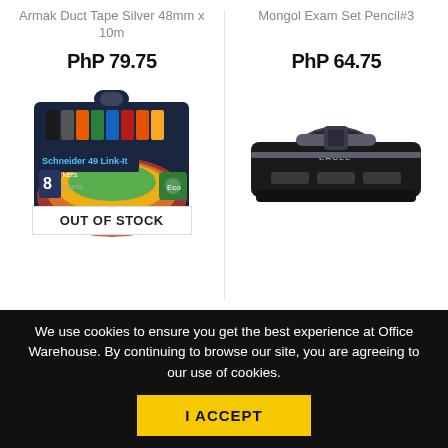Armak Duct Tape Silver 48mm x 10m
Mongol Exam Set Pencil#3
PhP 79.75
PhP 64.75
[Figure (photo): Schneider Link-It 8 marker set in dark blue packaging with colorful markers, OUT OF STOCK badge overlay]
[Figure (photo): Black Eagle hole punch / paper perforator product photo on white background]
OUT OF STOCK
We use cookies to ensure you get the best experience at Office Warehouse. By continuing to browse our site, you are agreeing to our use of cookies.
I ACCEPT